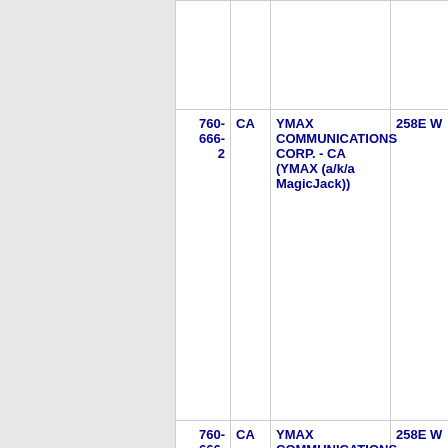| Number | State | Name | Code |
| --- | --- | --- | --- |
| 760-666-2 | CA | YMAX COMMUNICATIONS CORP. - CA (YMAX (a/k/a MagicJack)) | 258E W |
| 760-666-5 | CA | YMAX COMMUNICATIONS CORP. - CA (YMAX (a/k/a MagicJack)) | 258E W |